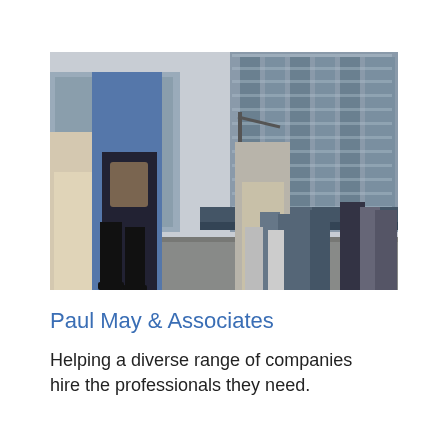[Figure (photo): Street-level photo of business professionals walking in front of large glass office buildings in a city. The image is taken from a low angle showing people from waist down in the foreground and a crowd of people walking in the background.]
Paul May & Associates
Helping a diverse range of companies hire the professionals they need.